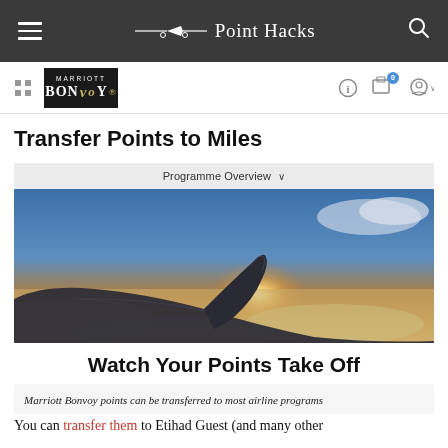Point Hacks
[Figure (screenshot): Marriott Bonvoy sub-navigation bar with logo and icons]
Transfer Points to Miles
Programme Overview ∨
[Figure (photo): Airplane wing tip against a sunset sky above clouds]
Watch Your Points Take Off
Marriott Bonvoy points can be transferred to most airline programs
You can transfer them to Etihad Guest (and many other